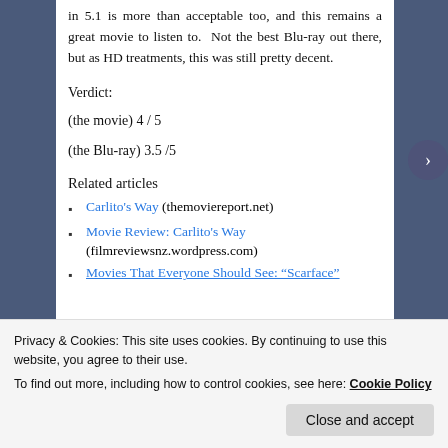in 5.1 is more than acceptable too, and this remains a great movie to listen to. Not the best Blu-ray out there, but as HD treatments, this was still pretty decent.
Verdict:
(the movie) 4 / 5
(the Blu-ray) 3.5 /5
Related articles
Carlito's Way (themoviereport.net)
Movie Review: Carlito's Way (filmreviewsnz.wordpress.com)
Movies That Everyone Should See: “Scarface”
Privacy & Cookies: This site uses cookies. By continuing to use this website, you agree to their use.
To find out more, including how to control cookies, see here: Cookie Policy